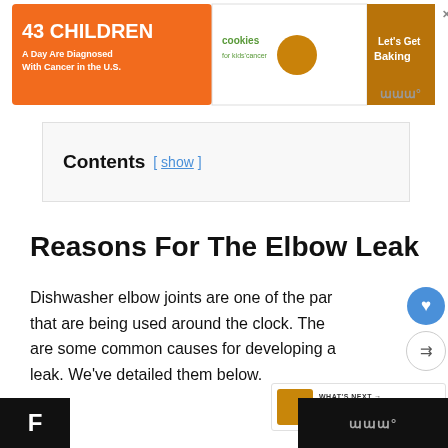[Figure (other): Advertisement banner: '43 Children A Day Are Diagnosed With Cancer in the U.S.' with cookies for kids' cancer branding and 'Let's Get Baking' call to action]
Contents [ show ]
Reasons For The Elbow Leak
Dishwasher elbow joints are one of the parts that are being used around the clock. There are some common causes for developing a leak. We've detailed them below.
F